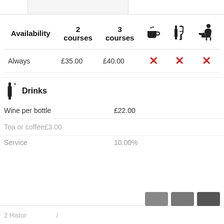| Availability | 2 courses | 3 courses | ☕ | 🍷 | 🍽 |
| --- | --- | --- | --- | --- | --- |
| Always | £35.00 | £40.00 | ✗ | ✗ | ✗ |
Drinks
Wine per bottle    £22.00
Tea or coffee    £3.00
Service    10.00%
We use cookies to personalise site content and to analyse our traffic. We also share some information about your use of this site with our advertising partners.
Privacy Policy
Accept